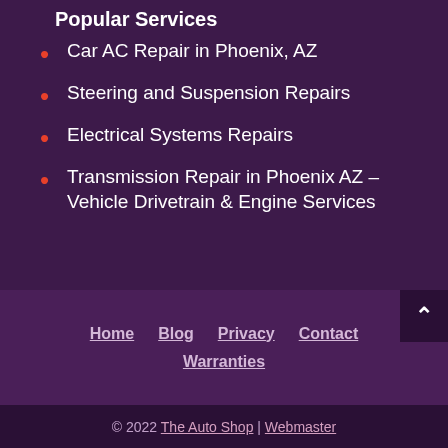Popular Services
Car AC Repair in Phoenix, AZ
Steering and Suspension Repairs
Electrical Systems Repairs
Transmission Repair in Phoenix AZ – Vehicle Drivetrain & Engine Services
Home  Blog  Privacy  Contact  Warranties
© 2022 The Auto Shop | Webmaster